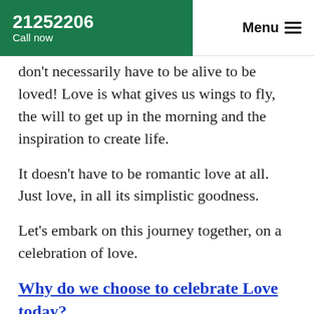21252206 Call now | Menu
don't necessarily have to be alive to be loved! Love is what gives us wings to fly, the will to get up in the morning and the inspiration to create life.
It doesn't have to be romantic love at all. Just love, in all its simplistic goodness.
Let's embark on this journey together, on a celebration of love.
Why do we choose to celebrate Love today?
The Four Types of Love